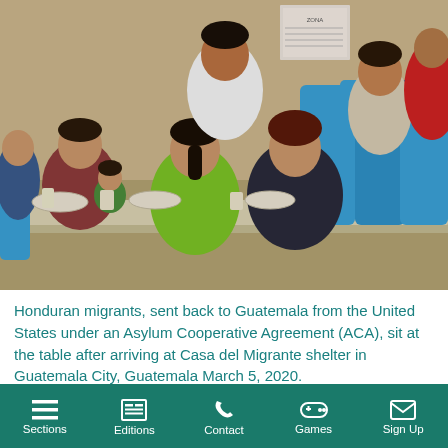[Figure (photo): Honduran migrants sitting at a long table with bowls and cups, blue plastic chairs, inside a shelter. Multiple people visible including adults and a child.]
Honduran migrants, sent back to Guatemala from the United States under an Asylum Cooperative Agreement (ACA), sit at the table after arriving at Casa del Migrante shelter in Guatemala City, Guatemala March 5, 2020. REUTERS/Fabricio Alonso
REUTERS
Sections  Editions  Contact  Games  Sign Up